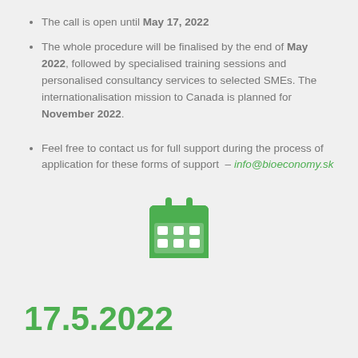The call is open until May 17, 2022
The whole procedure will be finalised by the end of May 2022, followed by specialised training sessions and personalised consultancy services to selected SMEs. The internationalisation mission to Canada is planned for November 2022.
Feel free to contact us for full support during the process of application for these forms of support – info@bioeconomy.sk
[Figure (illustration): Green calendar icon]
17.5.2022